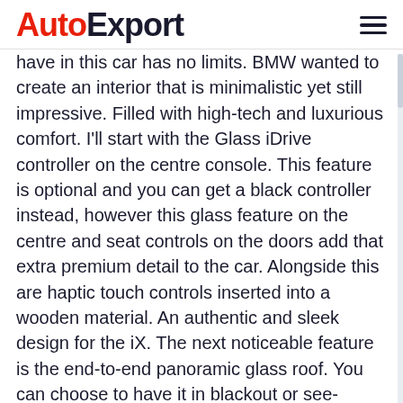AutoExport
have in this car has no limits. BMW wanted to create an interior that is minimalistic yet still impressive. Filled with high-tech and luxurious comfort. I'll start with the Glass iDrive controller on the centre console. This feature is optional and you can get a black controller instead, however this glass feature on the centre and seat controls on the doors add that extra premium detail to the car. Alongside this are haptic touch controls inserted into a wooden material. An authentic and sleek design for the iX. The next noticeable feature is the end-to-end panoramic glass roof. You can choose to have it in blackout or see-through from the touch of a